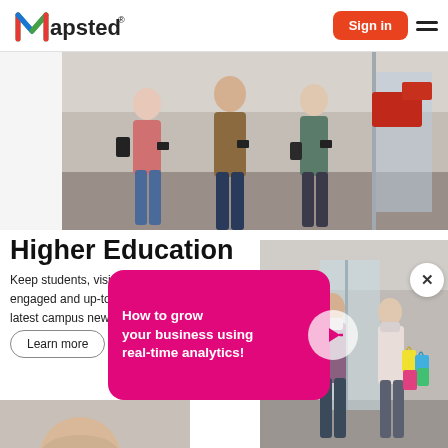[Figure (logo): Mapsted logo with colorful M icon and registered trademark symbol]
Sign in
[Figure (photo): Students walking in a campus corridor looking at phones, with red furniture in background]
Higher Education
Keep students, visitors and staff engaged and up-to-date with the latest campus news and events.
Learn more
[Figure (infographic): Overlay card with text 'How to grow your business using real-time analytics!' with pink/magenta background and play button]
[Figure (photo): Two people wearing masks walking in a shopping mall with colorful bags]